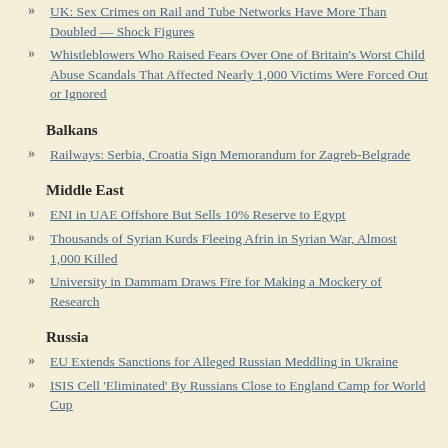UK: Sex Crimes on Rail and Tube Networks Have More Than Doubled — Shock Figures
Whistleblowers Who Raised Fears Over One of Britain's Worst Child Abuse Scandals That Affected Nearly 1,000 Victims Were Forced Out or Ignored
Balkans
Railways: Serbia, Croatia Sign Memorandum for Zagreb-Belgrade
Middle East
ENI in UAE Offshore But Sells 10% Reserve to Egypt
Thousands of Syrian Kurds Fleeing Afrin in Syrian War, Almost 1,000 Killed
University in Dammam Draws Fire for Making a Mockery of Research
Russia
EU Extends Sanctions for Alleged Russian Meddling in Ukraine
ISIS Cell 'Eliminated' By Russians Close to England Camp for World Cup